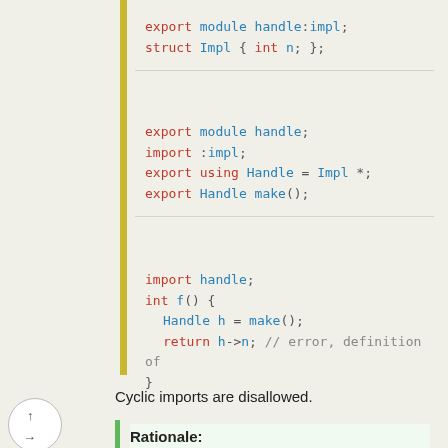[Figure (screenshot): Three code blocks showing C++ module syntax with export, import, struct, and function definitions, with a yellow left border bar]
Cyclic imports are disallowed.
Rationale: